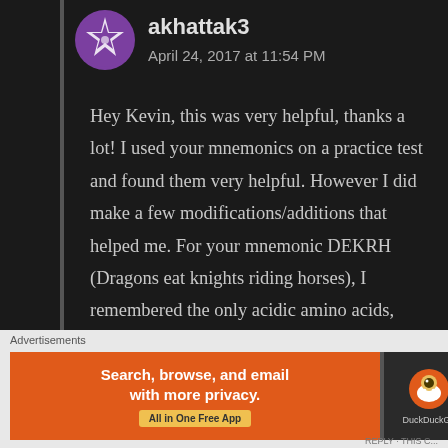akhattak3
April 24, 2017 at 11:54 PM
Hey Kevin, this was very helpful, thanks a lot! I used your mnemonics on a practice test and found them very helpful. However I did make a few modifications/additions that helped me. For your mnemonic DEKRH (Dragons eat knights riding horses), I remembered the only acidic amino acids, aspartate and glutamate, instead as aspartic acid and glutamic acid, which in turn suggested to me that these are the only two acidic amino acids. By process of elimination that would in turn help me
Advertisements
[Figure (screenshot): DuckDuckGo advertisement banner: orange section with text 'Search, browse, and email with more privacy. All in One Free App' and dark section with DuckDuckGo duck logo]